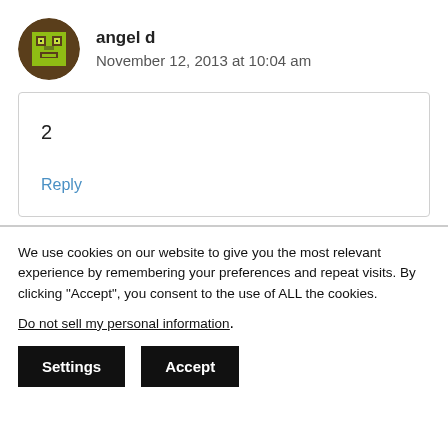[Figure (illustration): Pixel art avatar of a character with brown round background, green body with darker features, displayed in a circle]
angel d
November 12, 2013 at 10:04 am
2
Reply
We use cookies on our website to give you the most relevant experience by remembering your preferences and repeat visits. By clicking “Accept”, you consent to the use of ALL the cookies.
Do not sell my personal information.
Settings
Accept